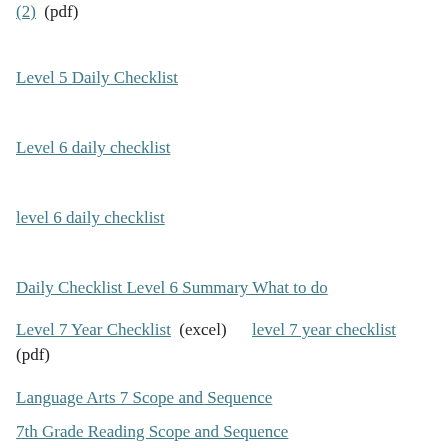(2)  (pdf)
Level 5 Daily Checklist
Level 6 daily checklist
level 6 daily checklist
Daily Checklist Level 6 Summary What to do
Level 7 Year Checklist  (excel)      level 7 year checklist  (pdf)
Language Arts 7 Scope and Sequence
7th Grade Reading Scope and Sequence